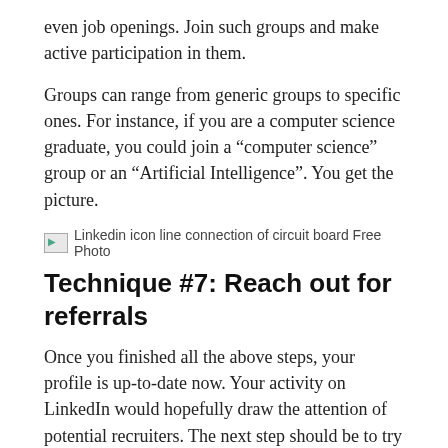even job openings. Join such groups and make active participation in them.
Groups can range from generic groups to specific ones. For instance, if you are a computer science graduate, you could join a “computer science” group or an “Artificial Intelligence”. You get the picture.
[Figure (photo): Linkedin icon line connection of circuit board Free Photo]
Technique #7: Reach out for referrals
Once you finished all the above steps, your profile is up-to-date now. Your activity on LinkedIn would hopefully draw the attention of potential recruiters. The next step should be to try for referrals.
When a job opening shows up in your feed, LinkedIn usually tells you if anyone from your list of connections is currently working in that company.